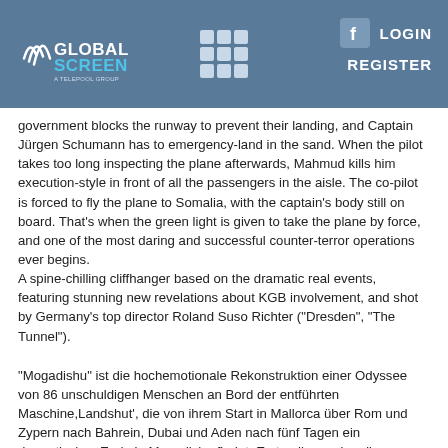[Figure (logo): GlobalScreen logo with grid icon and Facebook icon in blue header bar with LOGIN and REGISTER links]
government blocks the runway to prevent their landing, and Captain Jürgen Schumann has to emergency-land in the sand. When the pilot takes too long inspecting the plane afterwards, Mahmud kills him execution-style in front of all the passengers in the aisle. The co-pilot is forced to fly the plane to Somalia, with the captain's body still on board. That's when the green light is given to take the plane by force, and one of the most daring and successful counter-terror operations ever begins.
A spine-chilling cliffhanger based on the dramatic real events, featuring stunning new revelations about KGB involvement, and shot by Germany's top director Roland Suso Richter ("Dresden", "The Tunnel").
"Mogadishu" ist die hochemotionale Rekonstruktion einer Odyssee von 86 unschuldigen Menschen an Bord der entführten Maschine 'Landshut', die von ihrem Start in Mallorca über Rom und Zypern nach Bahrein, Dubai und Aden nach fünf Tagen ein dramatisches Ende in Mogadishu findet. Erstmalig werden die Ereignisse in fiktionaler Form aufgearbeitet und in ein neues Licht gestellt: Bislang wurde die Entführung hauptsächlich in Zusammenhang mit dem politischen Terrorismus in Deutschland gesehen. Tatsächlich wurde die Urlaubermaschine von einer rein arabischen Terrorgruppe entführt. Hinzu kommt die neue